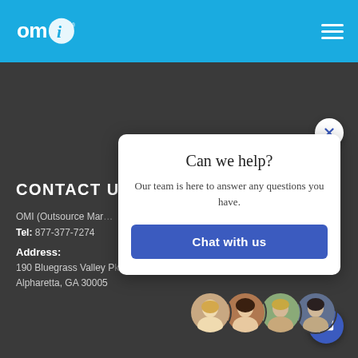OMI logo and navigation header
CONTACT US
OMI (Outsource Mar...
Tel: 877-377-7274
Address:
190 Bluegrass Valley P…
Alpharetta, GA 30005
[Figure (screenshot): Chat popup widget with 'Can we help?' heading, description text 'Our team is here to answer any questions you have.', blue 'Chat with us' button, and X close button]
[Figure (photo): Row of four circular avatar photos of team members at the bottom of the page]
[Figure (other): Floating blue chat icon button in the bottom right corner]